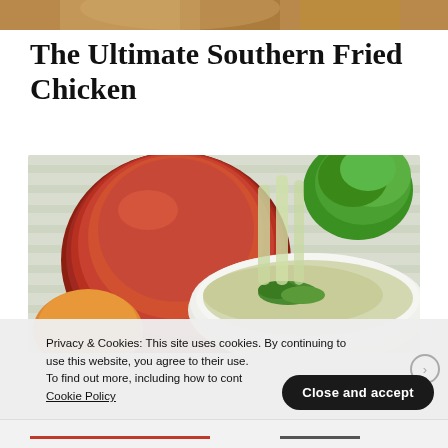[Figure (photo): Top edge of a food photo, warm brown tones, partially visible]
The Ultimate Southern Fried Chicken
[Figure (photo): A bowl of herb broth soup with green herbs, beside red onions and celery on a striped plate]
Privacy & Cookies: This site uses cookies. By continuing to use this website, you agree to their use.
To find out more, including how to control cookies, see here:
Cookie Policy
Close and accept